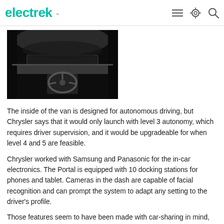electrek
[Figure (photo): Black and white interior photo of a futuristic van designed for autonomous driving, showing the dashboard and steering area.]
The inside of the van is designed for autonomous driving, but Chrysler says that it would only launch with level 3 autonomy, which requires driver supervision, and it would be upgradeable for when level 4 and 5 are feasible.
Chrysler worked with Samsung and Panasonic for the in-car electronics. The Portal is equipped with 10 docking stations for phones and tablet. Cameras in the dash are capable of facial recognition and can prompt the system to adapt any setting to the driver's profile.
Those features seem to have been made with car-sharing in mind, which would make sense if it was designed for millennials as Chrysler is claiming. The automaker recently